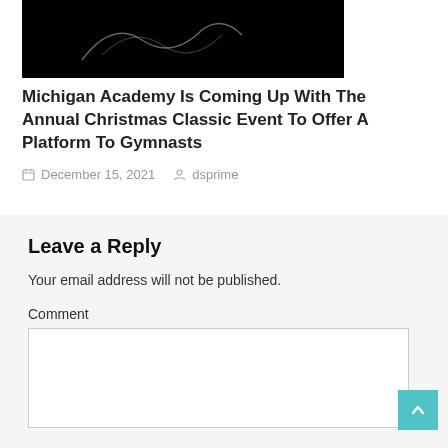[Figure (photo): Black and white photograph, partially visible at top of page]
Michigan Academy Is Coming Up With The Annual Christmas Classic Event To Offer A Platform To Gymnasts
December 15, 2021   dsprime
Leave a Reply
Your email address will not be published.
Comment